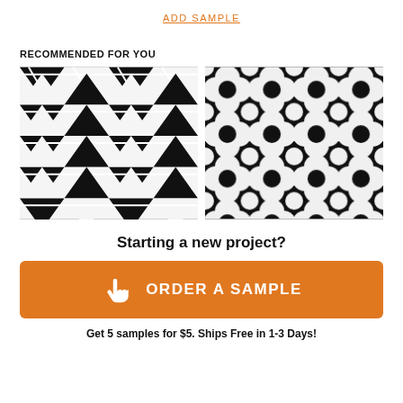ADD SAMPLE
RECOMMENDED FOR YOU
[Figure (photo): Black and white geometric triangle pattern tile mosaic]
[Figure (photo): Black and white circular/floral pattern marble mosaic tile]
Starting a new project?
ORDER A SAMPLE
Get 5 samples for $5. Ships Free in 1-3 Days!